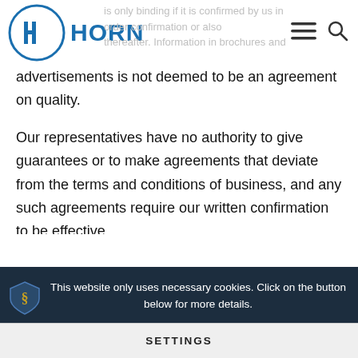HORN
is only binding if it is confirmed by us in order confirmation or also thereafter. Information in brochures and advertisements is not deemed to be an agreement on quality.
Our representatives have no authority to give guarantees or to make agreements that deviate from the terms and conditions of business, and any such agreements require our written confirmation to be effective.
3. Prices
This website only uses necessary cookies. Click on the button below for more details.
SETTINGS